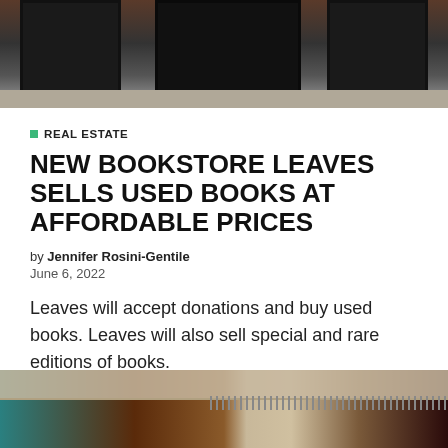[Figure (photo): Exterior photo of a building with dark/black doors and brick facade, with a sidewalk in front]
REAL ESTATE
NEW BOOKSTORE LEAVES SELLS USED BOOKS AT AFFORDABLE PRICES
by Jennifer Rosini-Gentile
June 6, 2022
Leaves will accept donations and buy used books. Leaves will also sell special and rare editions of books.
[Figure (photo): Interior photo of a bookstore with teal/turquoise shelving on the left, dark red walls, and a linen curtain with fringe at the top]